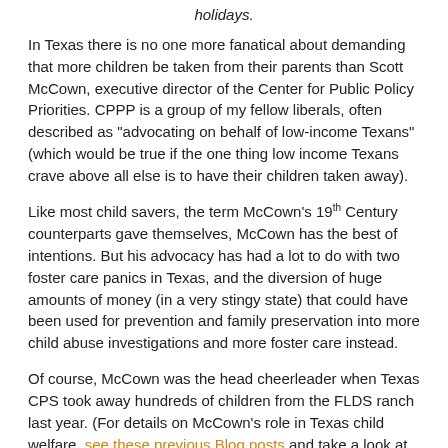holidays.
In Texas there is no one more fanatical about demanding that more children be taken from their parents than Scott McCown, executive director of the Center for Public Policy Priorities. CPPP is a group of my fellow liberals, often described as "advocating on behalf of low-income Texans" (which would be true if the one thing low income Texans crave above all else is to have their children taken away).
Like most child savers, the term McCown's 19th Century counterparts gave themselves, McCown has the best of intentions. But his advocacy has had a lot to do with two foster care panics in Texas, and the diversion of huge amounts of money (in a very stingy state) that could have been used for prevention and family preservation into more child abuse investigations and more foster care instead.
Of course, McCown was the head cheerleader when Texas CPS took away hundreds of children from the FLDS ranch last year. (For details on McCown's role in Texas child welfare, see these previous Blog posts and take a look at NCCRP's 2005 report on Texas child welfare, (do a word